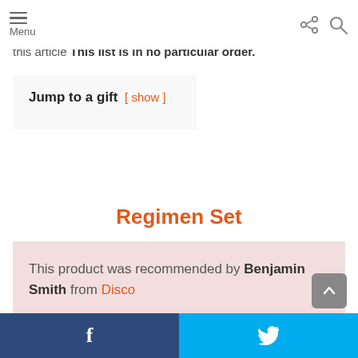Menu
this article This list is in no particular order.
Jump to a gift [ show ]
Regimen Set
This product was recommended by Benjamin Smith from Disco
f  [twitter bird]